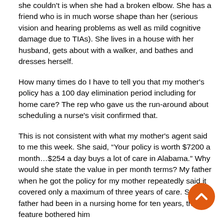she couldn't is when she had a broken elbow. She has a friend who is in much worse shape than her (serious vision and hearing problems as well as mild cognitive damage due to TIAs). She lives in a house with her husband, gets about with a walker, and bathes and dresses herself.
How many times do I have to tell you that my mother's policy has a 100 day elimination period including for home care? The rep who gave us the run-around about scheduling a nurse's visit confirmed that.
This is not consistent with what my mother's agent said to me this week. She said, “Your policy is worth $7200 a month…$254 a day buys a lot of care in Alabama.” Why would she state the value in per month terms? My father when he got the policy for my mother repeatedly said it covered only a maximum of three years of care. Since his father had been in a nursing home for ten years, this feature bothered him